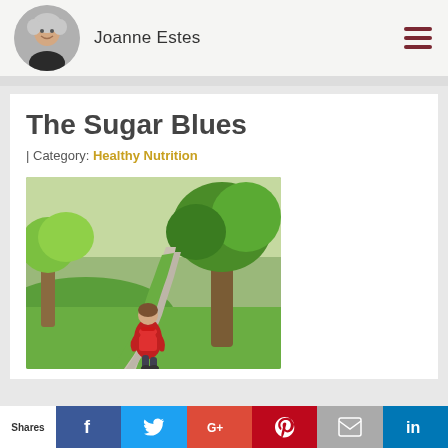Joanne Estes
The Sugar Blues
| Category: Healthy Nutrition
[Figure (photo): Child with red backpack walking away down a tree-lined path]
Shares — social share buttons: Facebook, Twitter, Google+, Pinterest, Email, LinkedIn